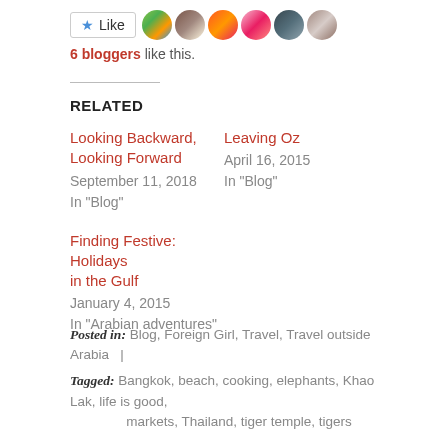[Figure (other): Like button with star icon followed by 6 blogger avatar thumbnails]
6 bloggers like this.
RELATED
Looking Backward, Looking Forward
September 11, 2018
In "Blog"
Leaving Oz
April 16, 2015
In "Blog"
Finding Festive: Holidays in the Gulf
January 4, 2015
In "Arabian adventures"
Posted in: Blog, Foreign Girl, Travel, Travel outside Arabia |
Tagged: Bangkok, beach, cooking, elephants, Khao Lak, life is good, markets, Thailand, tiger temple, tigers